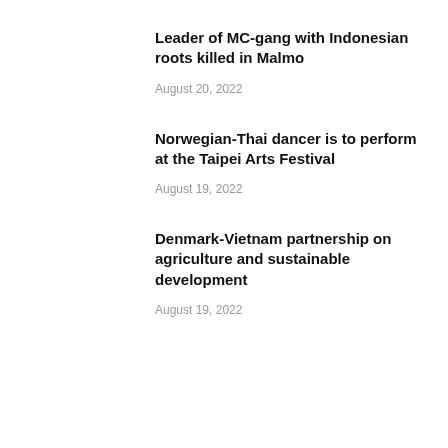Leader of MC-gang with Indonesian roots killed in Malmo
August 20, 2022
Norwegian-Thai dancer is to perform at the Taipei Arts Festival
August 19, 2022
Denmark-Vietnam partnership on agriculture and sustainable development
August 19, 2022